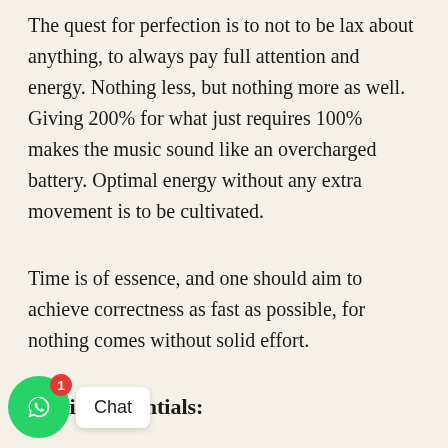The quest for perfection is to not to be lax about anything, to always pay full attention and energy. Nothing less, but nothing more as well. Giving 200% for what just requires 100% makes the music sound like an overcharged battery. Optimal energy without any extra movement is to be cultivated.
Time is of essence, and one should aim to achieve correctness as fast as possible, for nothing comes without solid effort.
Musical essentials:
All musicianship at ones command is of no use if the voice or the instrument cannot bring out the notes with Clarity, Purity, Flexibility,